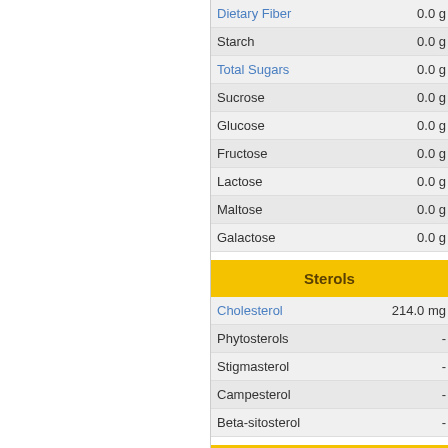| Nutrient | Value |
| --- | --- |
| Dietary Fiber | 0.0 g |
| Starch | 0.0 g |
| Total Sugars | 0.0 g |
| Sucrose | 0.0 g |
| Glucose | 0.0 g |
| Fructose | 0.0 g |
| Lactose | 0.0 g |
| Maltose | 0.0 g |
| Galactose | 0.0 g |
Sterols
| Nutrient | Value |
| --- | --- |
| Cholesterol | 214.0 mg |
| Phytosterols | - |
| Stigmasterol | - |
| Campesterol | - |
| Beta-sitosterol | - |
Misc
| Nutrient | Value |
| --- | --- |
| Alcohol, ethyl | 0.0 g |
| Water | 22.8 g |
| Energy | 378.0 kcal |